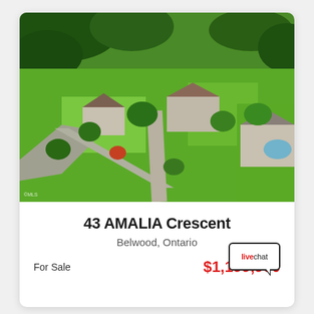[Figure (photo): Aerial drone photograph of a residential neighbourhood with large green lots, houses with dark roofs, a curved road, driveways, mature trees and a swimming pool visible on the right side.]
43 AMALIA Crescent
Belwood, Ontario
For Sale
$1,199,900
[Figure (other): Live chat button/bubble widget with text 'livechat']